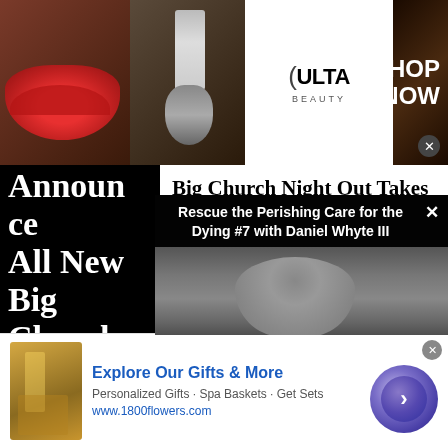[Figure (screenshot): ULTA Beauty advertisement banner showing makeup images with lips, brush, and eye makeup, ULTA logo in center, SHOP NOW button on right]
Announce All New Big Church Night Out
Big Church Night Out Takes Over Pandora's Christian Contemporary Station
Pu
Ju
Po
[Figure (screenshot): Video overlay showing 'Rescue the Perishing Care for the Dying #7 with Daniel Whyte III' with thumbnail of person with glasses]
[Figure (screenshot): 1800flowers.com advertisement: Explore Our Gifts & More - Personalized Gifts - Spa Baskets - Get Sets - www.1800flowers.com with circular purple arrow button]